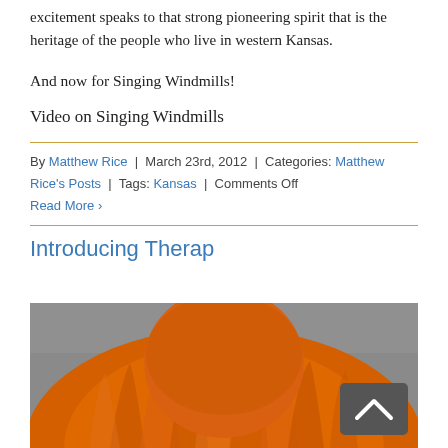excitement speaks to that strong pioneering spirit that is the heritage of the people who live in western Kansas.
And now for Singing Windmills!
Video on Singing Windmills
By Matthew Rice | March 23rd, 2012 | Categories: Matthew Rice's Posts | Tags: Kansas | Comments Off
Read More >
Introducing Therap
[Figure (photo): Photo showing the back of a person or figure with bright orange fur/hair, partially cropped. A dark scroll-to-top button with an upward chevron is visible in the lower right corner.]